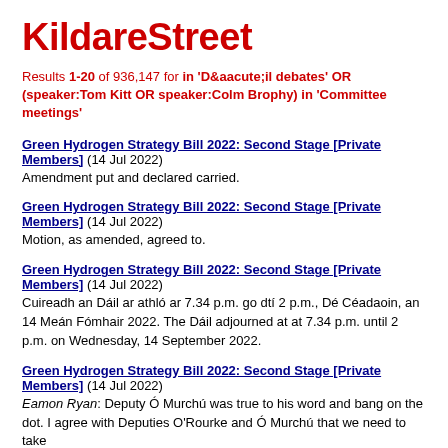KildareStreet
Results 1-20 of 936,147 for in 'Dáil debates' OR (speaker:Tom Kitt OR speaker:Colm Brophy) in 'Committee meetings'
Green Hydrogen Strategy Bill 2022: Second Stage [Private Members] (14 Jul 2022)
Amendment put and declared carried.
Green Hydrogen Strategy Bill 2022: Second Stage [Private Members] (14 Jul 2022)
Motion, as amended, agreed to.
Green Hydrogen Strategy Bill 2022: Second Stage [Private Members] (14 Jul 2022)
Cuireadh an Dáil ar athló ar 7.34 p.m. go dtí 2 p.m., Dé Céadaoin, an 14 Meán Fómhair 2022. The Dáil adjourned at at 7.34 p.m. until 2 p.m. on Wednesday, 14 September 2022.
Green Hydrogen Strategy Bill 2022: Second Stage [Private Members] (14 Jul 2022)
Eamon Ryan: Deputy Ó Murchú was true to his word and bang on the dot. I agree with Deputies O'Rourke and Ó Murchú that we need to take